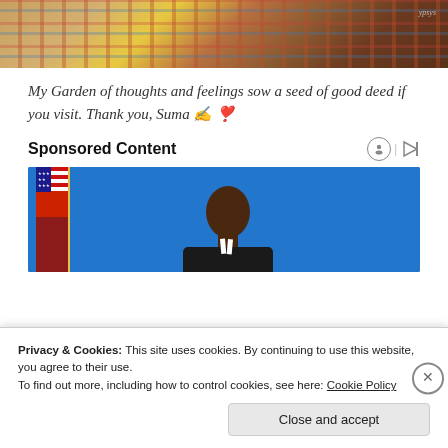[Figure (illustration): Top decorative image with colorful striped textile pattern and a dark object, with a handwritten watermark 'ypsys' in the top right corner.]
My Garden of thoughts and feelings sow a seed of good deed if you visit. Thank you, Suma ✍ ❣
Sponsored Content
[Figure (photo): Photo of a man in a suit standing in front of a blue curtain backdrop with an American flag to his left side.]
Privacy & Cookies: This site uses cookies. By continuing to use this website, you agree to their use.
To find out more, including how to control cookies, see here: Cookie Policy
Close and accept